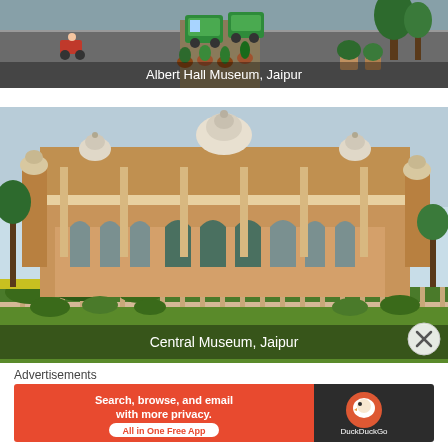[Figure (photo): Street scene with auto-rickshaws and motorcycles on a road with potted plants along the median, labeled Albert Hall Museum, Jaipur]
Albert Hall Museum, Jaipur
[Figure (photo): Albert Hall Museum (Central Museum) in Jaipur, an ornate Indo-Saracenic style building with domes, arches, and manicured gardens in the foreground]
Central Museum, Jaipur
Advertisements
[Figure (screenshot): DuckDuckGo advertisement banner: 'Search, browse, and email with more privacy. All in One Free App' on orange background with DuckDuckGo logo on dark background]